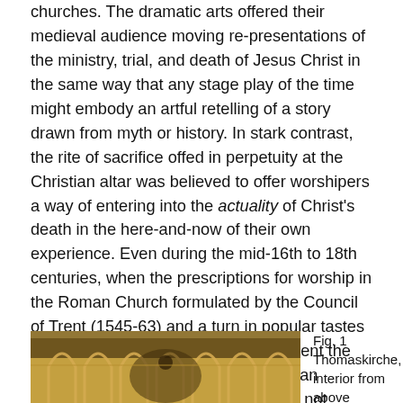churches. The dramatic arts offered their medieval audience moving re-presentations of the ministry, trial, and death of Jesus Christ in the same way that any stage play of the time might embody an artful retelling of a story drawn from myth or history. In stark contrast, the rite of sacrifice offed in perpetuity at the Christian altar was believed to offer worshipers a way of entering into the actuality of Christ's death in the here-and-now of their own experience. Even during the mid-16th to 18th centuries, when the prescriptions for worship in the Roman Church formulated by the Council of Trent (1545-63) and a turn in popular tastes across Europe toward "the baroque" lent the style and setting of the Roman Mass an element of the operatic, believers are not recorded as having confused the heaven-directed prayer of the Church rising from its sanctuaries from the often bawdy, audience-directed attractions of the dramatic stage.
[Figure (photo): Interior of Thomaskirche showing golden Gothic arched architecture]
Fig. 1 Thomaskirche, interior from above